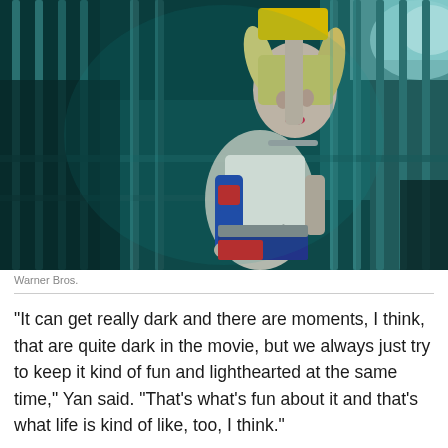[Figure (photo): A woman dressed as Harley Quinn (white t-shirt, colorful arm warmers, pigtail hair) standing behind jail bars in a dark teal-lit industrial setting, holding what appears to be a mallet or bat.]
Warner Bros.
“It can get really dark and there are moments, I think, that are quite dark in the movie, but we always just try to keep it kind of fun and lighthearted at the same time,” Yan said. “That’s what’s fun about it and that’s what life is kind of like, too, I think.”